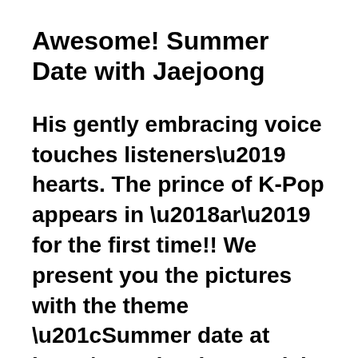Awesome! Summer Date with Jaejoong
His gently embracing voice touches listeners' hearts. The prince of K-Pop appears in 'ar' for the first time!! We present you the pictures with the theme “Summer date at home” & the special interview that indicates friendly and tender characters of him.